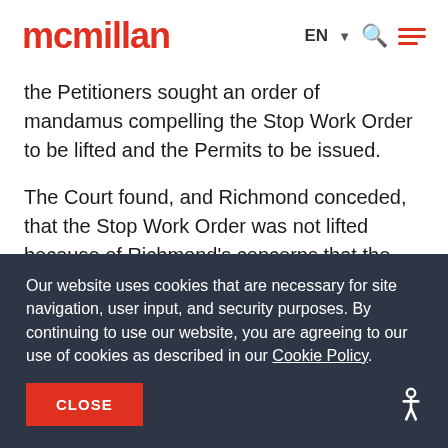mcmillan — EN (nav with search and menu)
the Petitioners sought an order of mandamus compelling the Stop Work Order to be lifted and the Permits to be issued.
The Court found, and Richmond conceded, that the Stop Work Order was not lifted because of Richmond's concerns that the Petitioners may grow marijuana on the Property in a manner inconsistent
Our website uses cookies that are necessary for site navigation, user input, and security purposes. By continuing to use our website, you are agreeing to our use of cookies as described in our Cookie Policy.
CLOSE